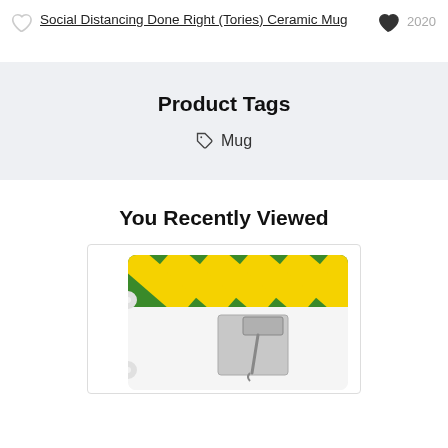Social Distancing Done Right (Tories) Ceramic Mug  2020
Product Tags
Mug
You Recently Viewed
[Figure (photo): Photo of a white ceramic mug with green and yellow diagonal stripes band and a cartoon hammer/gavel graphic on the mug body.]